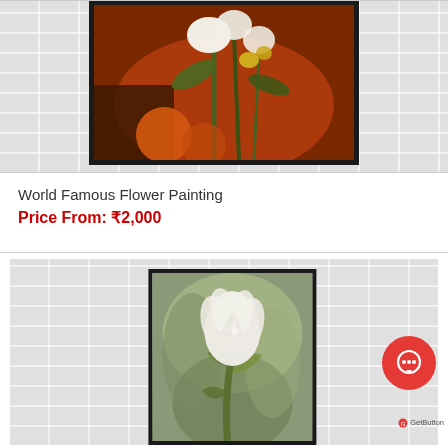[Figure (photo): Framed flower painting on brick wall background - top of card showing white flowers and oranges/warm tones on dark background, partially cropped]
World Famous Flower Painting
Price From: ₹2,000
[Figure (photo): Framed painting of a single white tulip flower with green leaves on a soft muted green/grey background, displayed on brick wall background]
[Figure (other): GetButton chat widget - red circular button with chat/message icon, labeled 'GetButton' below]